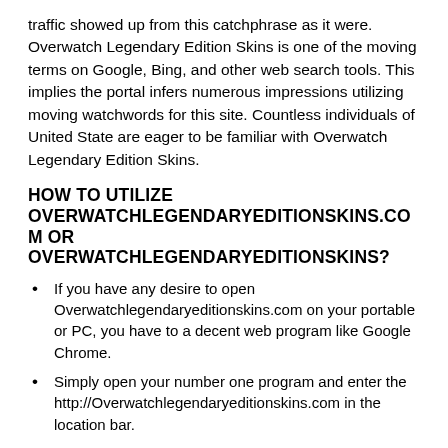traffic showed up from this catchphrase as it were. Overwatch Legendary Edition Skins is one of the moving terms on Google, Bing, and other web search tools. This implies the portal infers numerous impressions utilizing moving watchwords for this site. Countless individuals of United State are eager to be familiar with Overwatch Legendary Edition Skins.
HOW TO UTILIZE OVERWATCHLEGENDARYEDITIONSKINS.COM OR OVERWATCHLEGENDARYEDITIONSKINS?
If you have any desire to open Overwatchlegendaryeditionskins.com on your portable or PC, you have to a decent web program like Google Chrome.
Simply open your number one program and enter the http://Overwatchlegendaryeditionskins.com in the location bar.
After this, hit enter button.